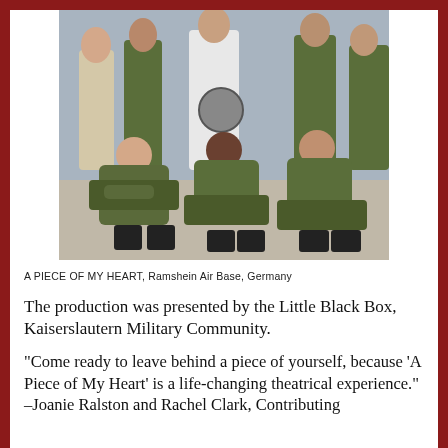[Figure (photo): Group photo of people in military green uniforms and one person in white dress, posed together at Ramshein Air Base, Germany]
A PIECE OF MY HEART, Ramshein Air Base, Germany
The production was presented by the Little Black Box, Kaiserslautern Military Community.
"Come ready to leave behind a piece of yourself, because 'A Piece of My Heart' is a life-changing theatrical experience." -Joanie Ralston and Rachel Clark, Contributing